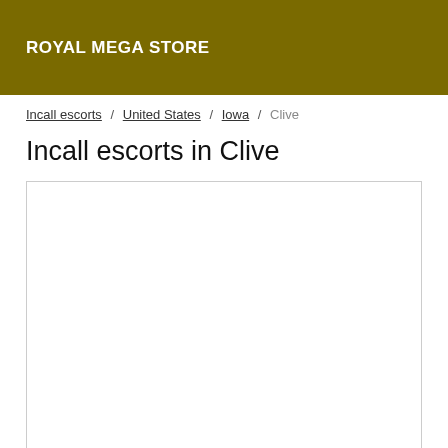ROYAL MEGA STORE
Incall escorts / United States / Iowa / Clive
Incall escorts in Clive
[Figure (other): Empty white content box with border]